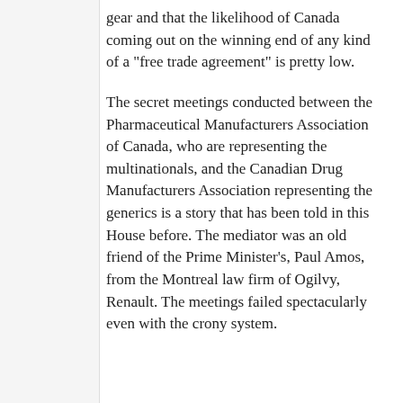gear and that the likelihood of Canada coming out on the winning end of any kind of a "free trade agreement" is pretty low.
The secret meetings conducted between the Pharmaceutical Manufacturers Association of Canada, who are representing the multinationals, and the Canadian Drug Manufacturers Association representing the generics is a story that has been told in this House before. The mediator was an old friend of the Prime Minister's, Paul Amos, from the Montreal law firm of Ogilvy, Renault. The meetings failed spectacularly even with the crony system.